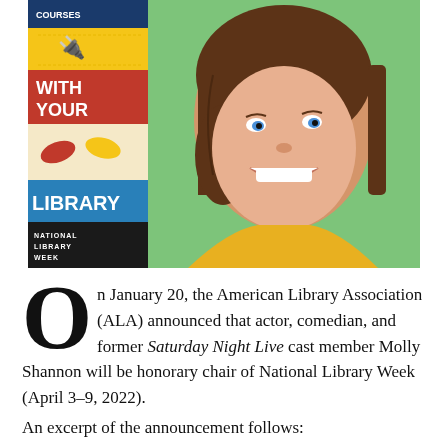[Figure (photo): Photo of Molly Shannon smiling against a green background, wearing a yellow sweater, alongside a National Library Week promotional poster showing 'Connect With Your Library' branding]
On January 20, the American Library Association (ALA) announced that actor, comedian, and former Saturday Night Live cast member Molly Shannon will be honorary chair of National Library Week (April 3–9, 2022). An excerpt of the announcement follows: